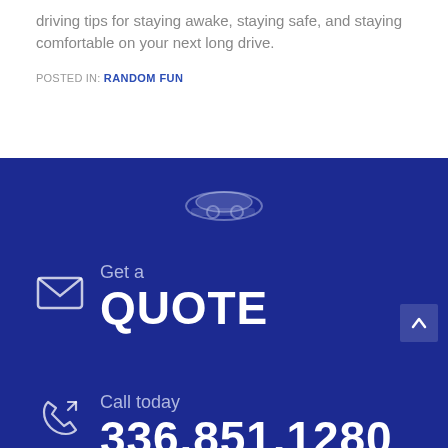driving tips for staying awake, staying safe, and staying comfortable on your next long drive.
POSTED IN: RANDOM FUN
[Figure (logo): Insurance company logo in white/light blue on dark blue background]
Get a QUOTE
Call today 336.851.1280